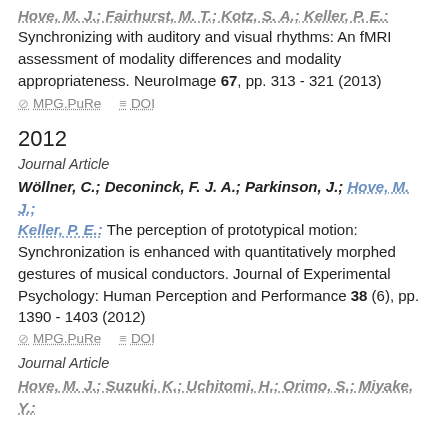Hove, M. J.; Fairhurst, M. T.; Kotz, S. A.; Keller, P. E.: Synchronizing with auditory and visual rhythms: An fMRI assessment of modality differences and modality appropriateness. NeuroImage 67, pp. 313 - 321 (2013)
⊘ MPG.PuRe  ≡ DOI
2012
Journal Article
Wöllner, C.; Deconinck, F. J. A.; Parkinson, J.; Hove, M. J.; Keller, P. E.: The perception of prototypical motion: Synchronization is enhanced with quantitatively morphed gestures of musical conductors. Journal of Experimental Psychology: Human Perception and Performance 38 (6), pp. 1390 - 1403 (2012)
⊘ MPG.PuRe  ≡ DOI
Journal Article
Hove, M. J.; Suzuki, K.; Uchitomi, H.; Orimo, S.; Miyake, Y.: